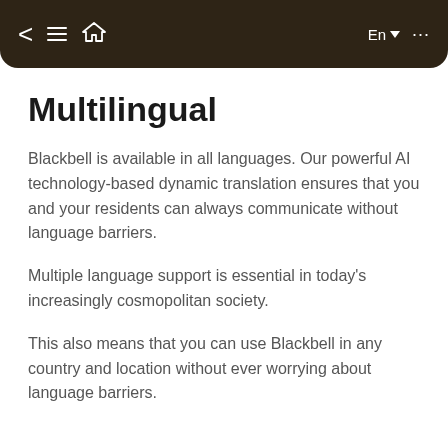< ≡ 🏠   En ▼ ...
Multilingual
Blackbell is available in all languages. Our powerful AI technology-based dynamic translation ensures that you and your residents can always communicate without language barriers.
Multiple language support is essential in today's increasingly cosmopolitan society.
This also means that you can use Blackbell in any country and location without ever worrying about language barriers.